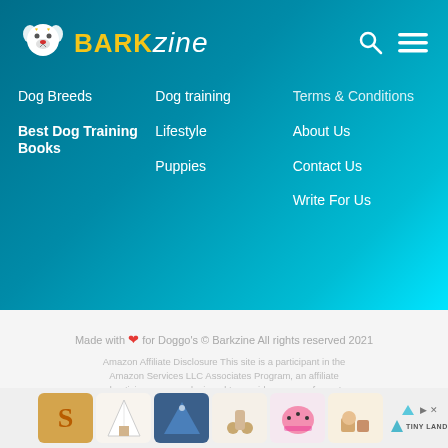[Figure (logo): Barkzine logo with dog face icon and brand name in yellow/white text, plus search and hamburger menu icons]
Dog Breeds
Best Dog Training Books
Dog training
Lifestyle
Puppies
Terms & Conditions
About Us
Contact Us
Write For Us
Made with ❤ for Doggo's © Barkzine All rights reserved 2021
Amazon Affiliate Disclosure This site is a participant in the Amazon Services LLC Associates Program, an affiliate advertising program designed to provide a means for us to earn fees by linking to Amazon.com and affiliated sites.
[Figure (screenshot): Ad strip showing thumbnail product images and Tiny Land logo]